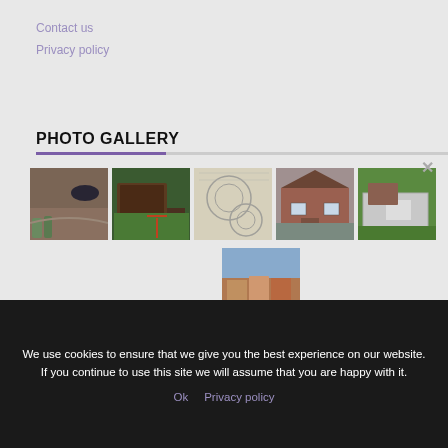Contact us
Privacy policy
PHOTO GALLERY
[Figure (photo): Photo gallery grid showing 6 construction/landscaping photos: driveway with car, playground area, circular design plans, house exterior, garden with pool cover, and apartment construction site]
We use cookies to ensure that we give you the best experience on our website. If you continue to use this site we will assume that you are happy with it.
Ok  Privacy policy